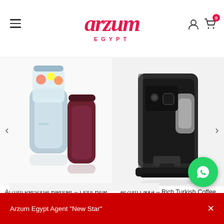[Figure (logo): Arzum Egypt logo in red italic script with EGYPT subtitle]
[Figure (photo): Arzum Personal Blender in Light Blue color with travel cups]
Arzum Personal Blender – Light Blue
999,00 EGP
[Figure (photo): Arzum Okka Rich Turkish Coffee Machine in Chrome color]
Arzum Okka – Rich Turkish Coffee Machine – Chrome –
2.900,00 EGP
ABOUT THE STORE
Arzum Egypt Agent "New Star"